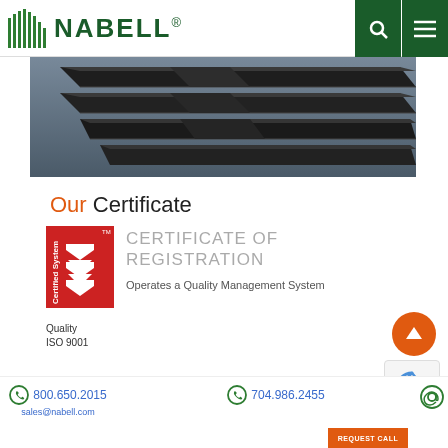NABELL® — navigation header with search and menu icons
[Figure (photo): Close-up photo of dark metal roofing or cladding panels arranged in a diagonal/chevron pattern, showing ridged metallic surfaces against a gray background]
Our Certificate
[Figure (logo): Red ISO Certified System badge with white chevron marks and text 'Certified System TM' with 'Quality ISO 9001' below]
CERTIFICATE OF REGISTRATION
Operates a Quality Management System
800.650.2015  704.986.2455  sales@nabell.com